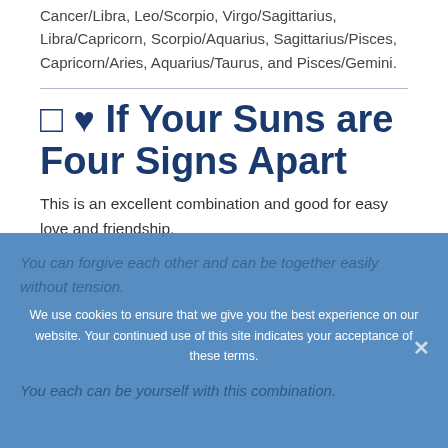Cancer/Libra, Leo/Scorpio, Virgo/Sagittarius, Libra/Capricorn, Scorpio/Aquarius, Sagittarius/Pisces, Capricorn/Aries, Aquarius/Taurus, and Pisces/Gemini.
♡ ❤ If Your Suns are Four Signs Apart
This is an excellent combination and good for easy love and friendship.
You can forgive each other and can be together easily without tension.
You each can be yourself with this combination.
We use cookies to ensure that we give you the best experience on our website. Your continued use of this site indicates your acceptance of these terms.